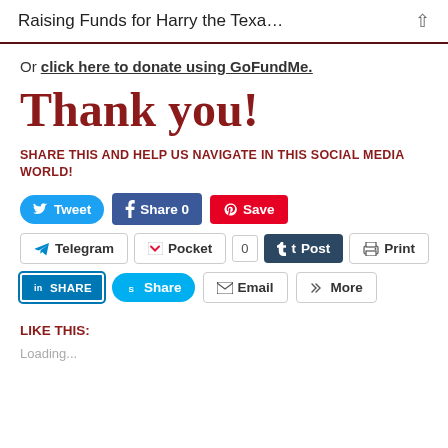Raising Funds for Harry the Texa…
Or click here to donate using GoFundMe.
Thank you!
SHARE THIS AND HELP US NAVIGATE IN THIS SOCIAL MEDIA WORLD!
[Figure (other): Social sharing buttons: Tweet, Share 0 (Facebook), Save (Pinterest), Telegram, Pocket (0), Post (Tumblr), Print, LinkedIn SHARE, Skype Share, Email, More]
LIKE THIS:
Loading...